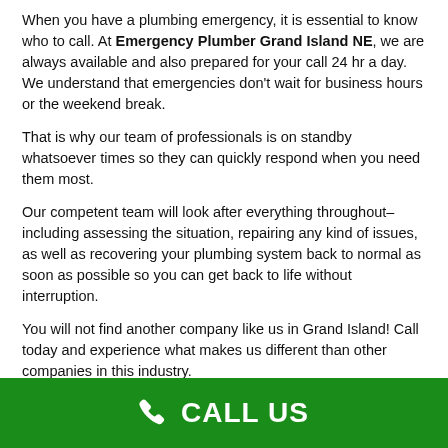When you have a plumbing emergency, it is essential to know who to call. At Emergency Plumber Grand Island NE, we are always available and also prepared for your call 24 hr a day. We understand that emergencies don't wait for business hours or the weekend break.
That is why our team of professionals is on standby whatsoever times so they can quickly respond when you need them most.
Our competent team will look after everything throughout–including assessing the situation, repairing any kind of issues, as well as recovering your plumbing system back to normal as soon as possible so you can get back to life without interruption.
You will not find another company like us in Grand Island! Call today and experience what makes us different than other companies in this industry.
CALL US